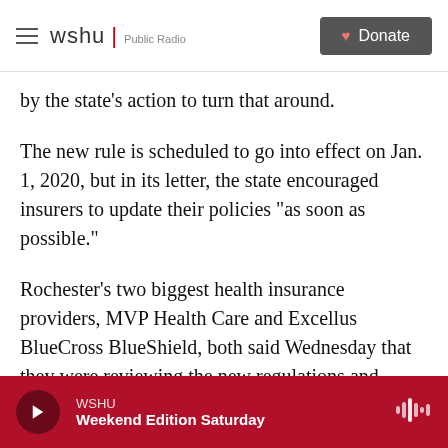wshu | Public Radio   Donate
by the state’s action to turn that around.
The new rule is scheduled to go into effect on Jan. 1, 2020, but in its letter, the state encouraged insurers to update their policies “as soon as possible.”
Rochester’s two biggest health insurance providers, MVP Health Care and Excellus BlueCross BlueShield, both said Wednesday that they were reviewing the new regulations and figuring out how their insurance offerings would change to fit the rules.
WSHU  Weekend Edition Saturday